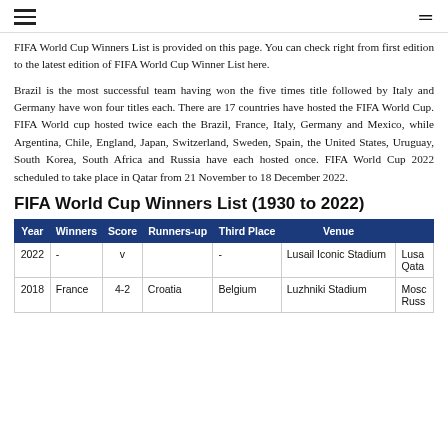≡  ≡
FIFA World Cup Winners List is provided on this page. You can check right from first edition to the latest edition of FIFA World Cup Winner List here.
Brazil is the most successful team having won the five times title followed by Italy and Germany have won four titles each. There are 17 countries have hosted the FIFA World Cup. FIFA World cup hosted twice each the Brazil, France, Italy, Germany and Mexico, while Argentina, Chile, England, Japan, Switzerland, Sweden, Spain, the United States, Uruguay, South Korea, South Africa and Russia have each hosted once. FIFA World Cup 2022 scheduled to take place in Qatar from 21 November to 18 December 2022.
FIFA World Cup Winners List (1930 to 2022)
| Year | Winners | Score | Runners-up | Third Place | Venue |  |
| --- | --- | --- | --- | --- | --- | --- |
| 2022 | - | v |  | - | Lusail Iconic Stadium | Lusa Qatar |
| 2018 | France | 4-2 | Croatia | Belgium | Luzhniki Stadium | Mosc Russ |